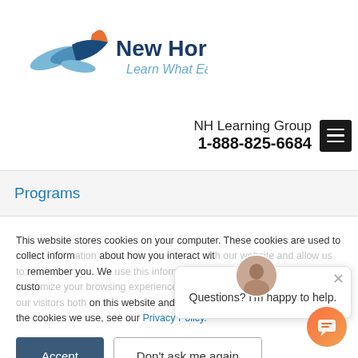[Figure (logo): New Horizons logo with stylized bird/wing icon in blue and orange, company name 'New Horizons' in dark blue, tagline 'Learn What Earns' in light blue italic]
NH Learning Group
1-888-825-6684
Programs
This website stores cookies on your computer. These cookies are used to collect information about how you interact with our website and allow us to remember you. We use this information in order to improve and customize your browsing experience and for analytics and metrics about our visitors both on this website and other media. To find out more about the cookies we use, see our Privacy Policy.
Questions? I'm happy to help.
Accept
Don't ask me again